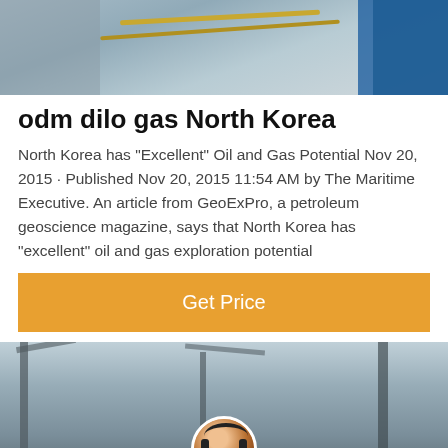[Figure (photo): Top photo showing industrial/oil equipment with rope/cable in foreground and a person in blue clothing on the right]
odm dilo gas North Korea
North Korea has "Excellent" Oil and Gas Potential Nov 20, 2015 · Published Nov 20, 2015 11:54 AM by The Maritime Executive. An article from GeoExPro, a petroleum geoscience magazine, says that North Korea has "excellent" oil and gas exploration potential
[Figure (other): Orange Get Price button]
[Figure (photo): Bottom photo showing industrial cranes/drilling equipment against a light sky, with a customer service chat bar overlay at the bottom showing Leave Message and Chat Online options with a female headset operator avatar in the center]